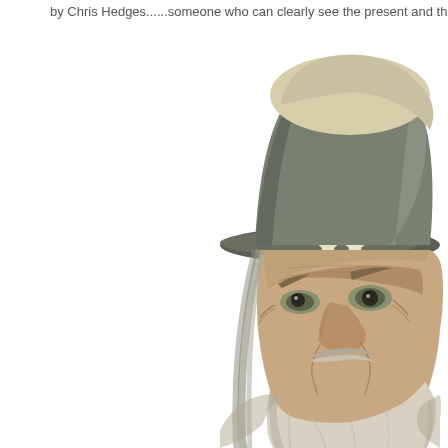by Chris Hedges......someone who can clearly see the present and th
[Figure (illustration): Illustration of an elderly Uncle Sam figure with a disheveled top hat featuring a star, long grey hair, a white beard, and a weathered, weary face. The figure is shown from the shoulders up against a white background.]